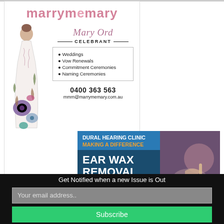[Figure (illustration): marrymemary advertisement: bride illustration with flowers, Mary Ord Celebrant, listing Weddings, Vow Renewals, Commitment Ceremonies, Naming Ceremonies, phone 0400 363 563, email mmm@marrymemary.com.au, website www.marrymemary.com.au]
[Figure (illustration): Dural Hearing Clinic Making a Difference - Ear Wax Removal advertisement with photo of medical procedure]
Get Notified when a new Issue is Out
Your email address..
Subscribe